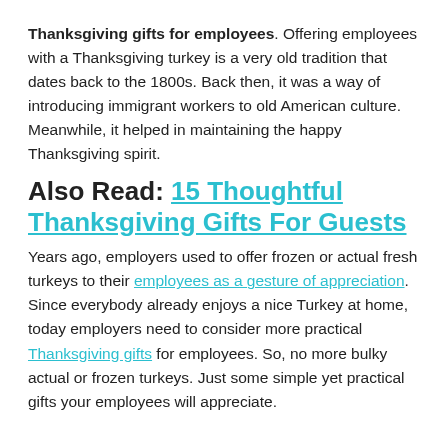Thanksgiving gifts for employees. Offering employees with a Thanksgiving turkey is a very old tradition that dates back to the 1800s. Back then, it was a way of introducing immigrant workers to old American culture. Meanwhile, it helped in maintaining the happy Thanksgiving spirit.
Also Read: 15 Thoughtful Thanksgiving Gifts For Guests
Years ago, employers used to offer frozen or actual fresh turkeys to their employees as a gesture of appreciation. Since everybody already enjoys a nice Turkey at home, today employers need to consider more practical Thanksgiving gifts for employees. So, no more bulky actual or frozen turkeys. Just some simple yet practical gifts your employees will appreciate.